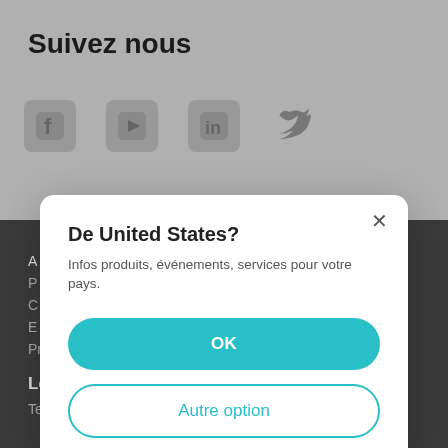Suivez nous
[Figure (screenshot): Social media icons: Facebook, YouTube, LinkedIn, Twitter on grey background]
Privacy Policy
Learning Center
Technology Library
[Figure (screenshot): Modal dialog box with close X button, title 'De United States?', subtitle text, OK button (teal), and Autre option button (outlined teal)]